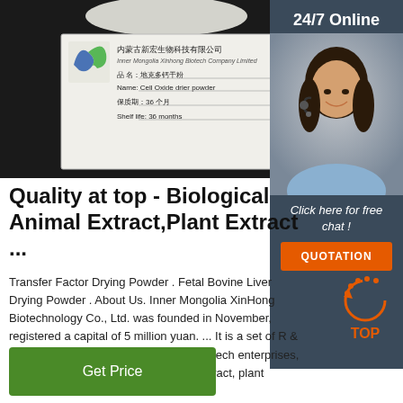[Figure (photo): Photo of a white powder product (Cell Oxide drier powder) with a company label from Inner Mongolia XinHong Biotech Company Limited, placed on a dark background. Label shows product name in Chinese and English, shelf life 36 months.]
[Figure (photo): 24/7 Online customer service widget showing a woman with a headset, with 'Click here for free chat!' text and an orange QUOTATION button.]
Quality at top - Biological Animal Extract,Plant Extract ...
Transfer Factor Drying Powder . Fetal Bovine Liver Drying Powder . About Us. Inner Mongolia XinHong Biotechnology Co., Ltd. was founded in November, registered a capital of 5 million yuan. ... It is a set of R & D, production, sales as one of the high-tech enterprises, mainly engaged in biological animal extract, plant extract ...
[Figure (other): Back to TOP circular arrow icon in orange with 'TOP' text in orange below it]
Get Price